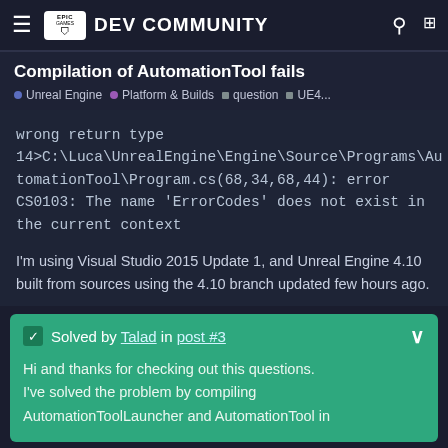Epic Games DEV COMMUNITY
Compilation of AutomationTool fails
Unreal Engine  Platform & Builds  question  UE4...
wrong return type
14>C:\Luca\UnrealEngine\Engine\Source\Programs\AutomationTool\Program.cs(68,34,68,44): error CS0103: The name 'ErrorCodes' does not exist in the current context
I'm using Visual Studio 2015 Update 1, and Unreal Engine 4.10 built from sources using the 4.10 branch updated few hours ago.
Solved by Talad in post #3
Hi and thanks for checking out this questions. I've solved the problem by compiling AutomationToolLauncher and AutomationTool in